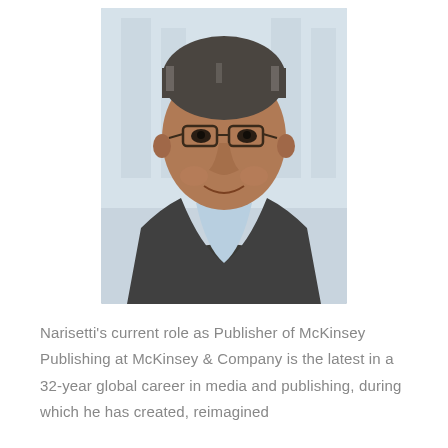[Figure (photo): Professional headshot of Raju Narisetti, a middle-aged man with gray-streaked dark hair, wearing glasses, a dark gray blazer, and a light blue open-collar shirt, smiling, against a blurred light blue/white background.]
Narisetti's current role as Publisher of McKinsey Publishing at McKinsey & Company is the latest in a 32-year global career in media and publishing, during which he has created, reimagined